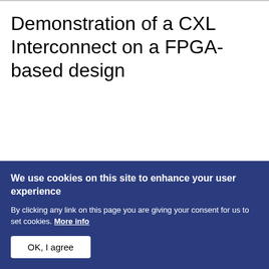Demonstration of a CXL Interconnect on a FPGA-based design
We use cookies on this site to enhance your user experience
By clicking any link on this page you are giving your consent for us to set cookies. More info
OK, I agree